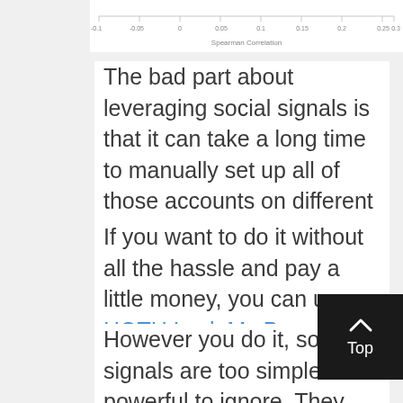[Figure (continuous-plot): Partial view of a scatter/correlation plot showing x-axis with values ranging from -0.1 to 0.35, labeled 'Spearman Correlation']
The bad part about leveraging social signals is that it can take a long time to manually set up all of those accounts on different platforms and make sure they are aligned.
If you want to do it without all the hassle and pay a little money, you can use HOTH Lock My Brand.
However you do it, social signals are too simple and powerful to ignore. They can make a huge difference in your link building strategy and push you toward your goal of 100 links